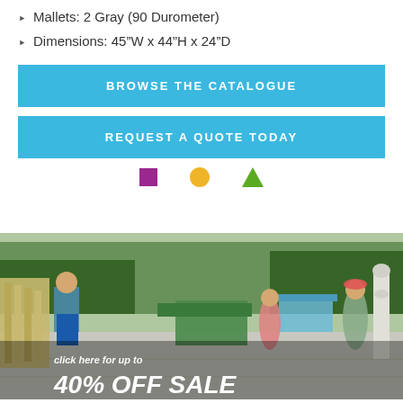Mallets: 2 Gray (90 Durometer)
Dimensions: 45"W x 44"H x 24"D
BROWSE THE CATALOGUE
REQUEST A QUOTE TODAY
[Figure (other): Three colored shapes in a row: a purple square, a yellow/orange circle, and a green triangle, used as navigation/carousel indicators]
[Figure (photo): Children playing with outdoor musical playground instruments in a park setting. Text overlay reads: 'click here for up to 40% OFF SALE']